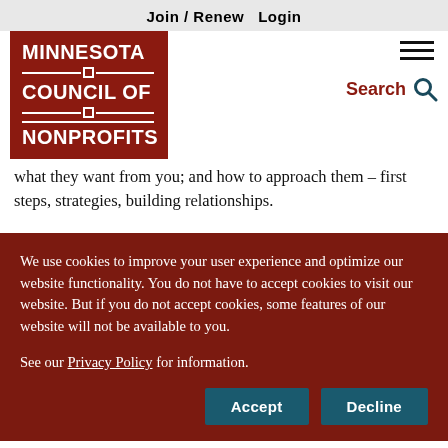Join / Renew   Login
[Figure (logo): Minnesota Council of Nonprofits red logo block with white text and decorative lines]
what they want from you; and how to approach them – first steps, strategies, building relationships.
We use cookies to improve your user experience and optimize our website functionality. You do not have to accept cookies to visit our website. But if you do not accept cookies, some features of our website will not be available to you.

See our Privacy Policy for information.